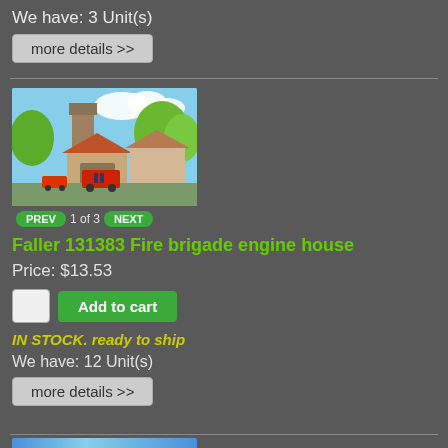We have: 3 Unit(s)
more details >>
[Figure (photo): Model railway fire brigade engine house with trees, tower, red vehicles and figures]
PREV   1 of 3   NEXT
Faller 131383 Fire brigade engine house
Price: $13.53
Add to cart
IN STOCK. ready to ship
We have: 12 Unit(s)
more details >>